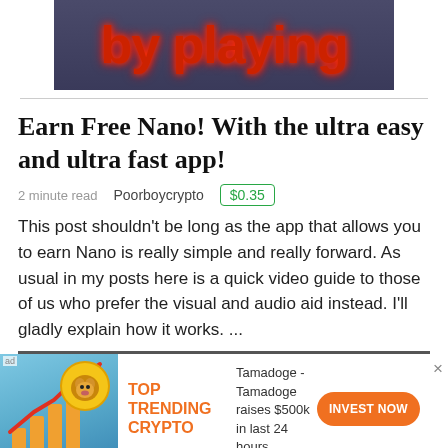[Figure (screenshot): Partial image showing stylized neon red 'by playing' text on dark blueish background]
Earn Free Nano! With the ultra easy and ultra fast app!
2 minute read   Poorboycrypto   $0.35
This post shouldn't be long as the app that allows you to earn Nano is really simple and really forward. As usual in my posts here is a quick video guide to those of us who prefer the visual and audio aid instead. I'll gladly explain how it works. ...
[Figure (infographic): Advertisement banner: Tamadoge crypto ad with dog coin image, 'TOP TRENDING CRYPTO' label, text 'Tamadoge - Tamadoge raises $500k in last 24 hours', and orange 'INVEST NOW' button]